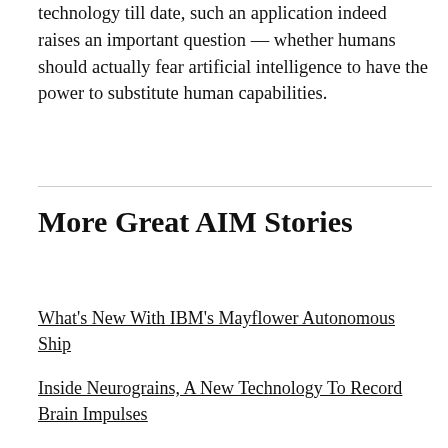technology till date, such an application indeed raises an important question — whether humans should actually fear artificial intelligence to have the power to substitute human capabilities.
More Great AIM Stories
What's New With IBM's Mayflower Autonomous Ship
Inside Neurograins, A New Technology To Record Brain Impulses